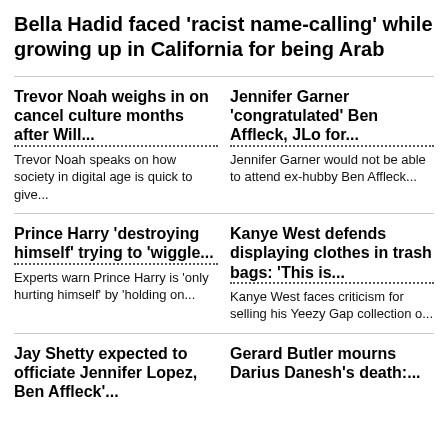Bella Hadid faced 'racist name-calling' while growing up in California for being Arab
Trevor Noah weighs in on cancel culture months after Will...
Trevor Noah speaks on how society in digital age is quick to give...
Jennifer Garner 'congratulated' Ben Affleck, JLo for...
Jennifer Garner would not be able to attend ex-hubby Ben Affleck...
Prince Harry 'destroying himself' trying to 'wiggle...
Experts warn Prince Harry is 'only hurting himself' by 'holding on...
Kanye West defends displaying clothes in trash bags: 'This is...
Kanye West faces criticism for selling his Yeezy Gap collection o...
Jay Shetty expected to officiate Jennifer Lopez, Ben Affleck'...
Gerard Butler mourns Darius Danesh's death:...